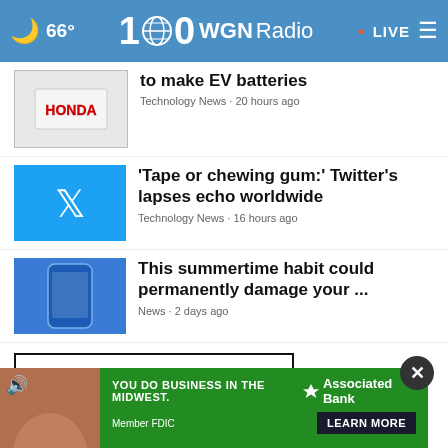66° WGN Radio • LIVE
to make EV batteries | Technology News • 20 hours ago
'Tape or chewing gum:' Twitter's lapses echo worldwide | Technology News • 16 hours ago
This summertime habit could permanently damage your ... | News • 2 days ago
View All Technology News ›
SCIENCE NEWS ›
[Figure (screenshot): Advertisement banner: YOU DO BUSINESS IN THE MIDWEST. Associated Bank. Member FDIC. LEARN MORE button.]